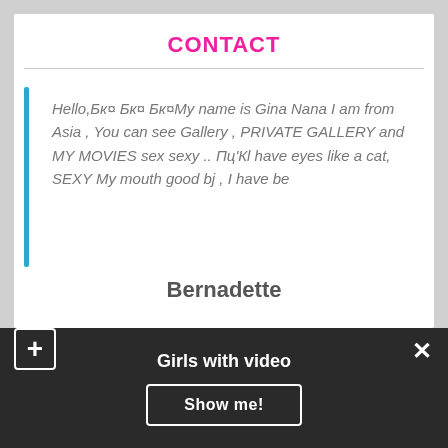CONTACT
Hello,Бк¤ Бк¤ Бк¤My name is Gina Nana I am from Asia , You can see Gallery , PRIVATE GALLERY and MY MOVIES sex sexy .. Пц'Кl have eyes like a cat, SEXY My mouth good bj , I have be
Bernadette
[Figure (photo): A hand holding a white object against a white background]
Girls with video
Show me!